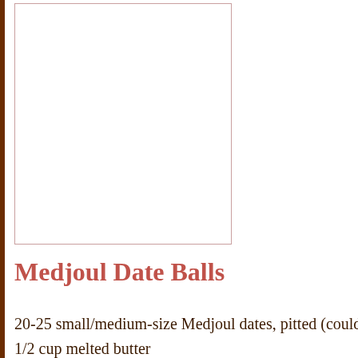[Figure (photo): Empty white box with a thin reddish-pink border, placeholder for a recipe photo]
Medjoul Date Balls
20-25 small/medium-size Medjoul dates, pitted (could be less or m
1/2 cup melted butter
2 TBSP powdered sugar
1/2 tsp cinnamon
1/2 tsp ground cardamom
1/2 cup walnuts (chopped or halves)
Coconut, about 1/3 cup, for rolling
In a food processor, blend the dates in 2 separate batches until it fo